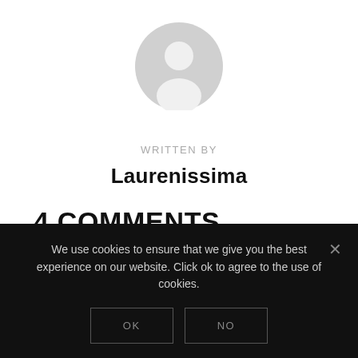[Figure (illustration): Gray circular avatar/profile icon with person silhouette]
WRITTEN BY
Laurenissima
4 COMMENTS
We use cookies to ensure that we give you the best experience on our website. Click ok to agree to the use of cookies.